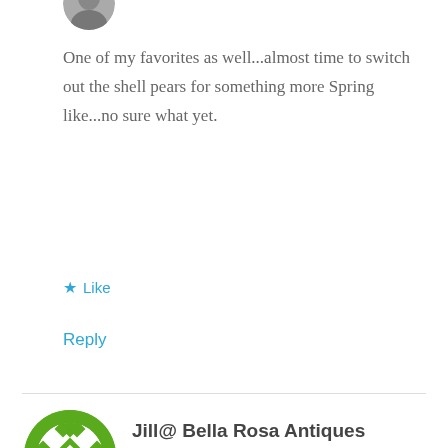[Figure (photo): Partial circular avatar image at top, cropped]
One of my favorites as well...almost time to switch out the shell pears for something more Spring like...no sure what yet.
★ Like
Reply
[Figure (illustration): Green quilt-pattern circular avatar logo for Jill@ Bella Rosa Antiques]
Jill@ Bella Rosa Antiques
MARCH 11, 2016 AT 3:51 AM
I love seeing something new on the blogs… And your bench collection is amazing! Thank you so much for sharing them for "Let's Talk Vintage!"